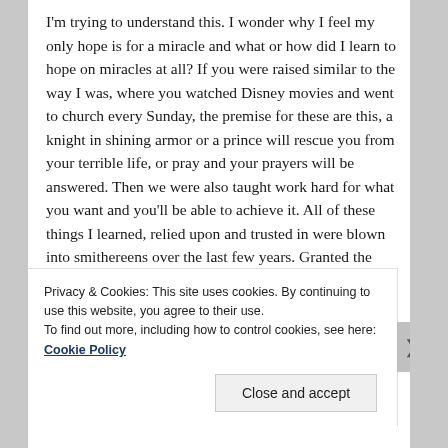I'm trying to understand this. I wonder why I feel my only hope is for a miracle and what or how did I learn to hope on miracles at all? If you were raised similar to the way I was, where you watched Disney movies and went to church every Sunday, the premise for these are this, a knight in shining armor or a prince will rescue you from your terrible life, or pray and your prayers will be answered. Then we were also taught work hard for what you want and you'll be able to achieve it. All of these things I learned, relied upon and trusted in were blown into smithereens over the last few years. Granted the knight or prince was a falsehood anyway. Prayers are never answered in the way we would like them to be. But
Privacy & Cookies: This site uses cookies. By continuing to use this website, you agree to their use.
To find out more, including how to control cookies, see here: Cookie Policy
Close and accept